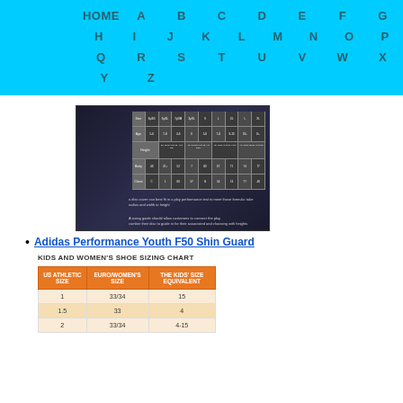HOME A B C D E F G H I J K L M N O P Q R S T U V W X Y Z
[Figure (screenshot): Dark background image showing a size chart table with data and two text paragraphs below it, with a thin vertical bar chart on the left side]
Adidas Performance Youth F50 Shin Guard
KIDS AND WOMEN'S SHOE SIZING CHART
| US ATHLETIC SIZE | EURO/WOMEN'S SIZE | THE KIDS' SIZE EQUIVALENT |
| --- | --- | --- |
| 1 | 33/34 | 15 |
| 1.5 | 33 | 4 |
| 2 | 33/34 | 4-15 |